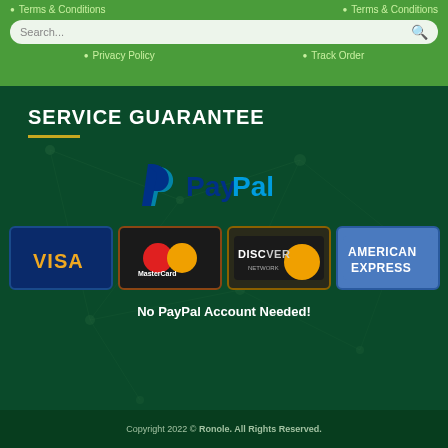Terms & Conditions  Privacy Policy  Terms & Conditions  Track Order
SERVICE GUARANTEE
[Figure (logo): PayPal logo with blue P symbol and PayPal text in blue]
[Figure (logo): Payment method logos: Visa, MasterCard, Discover Network, American Express]
No PayPal Account Needed!
Copyright 2022 © Ronole. All Rights Reserved.